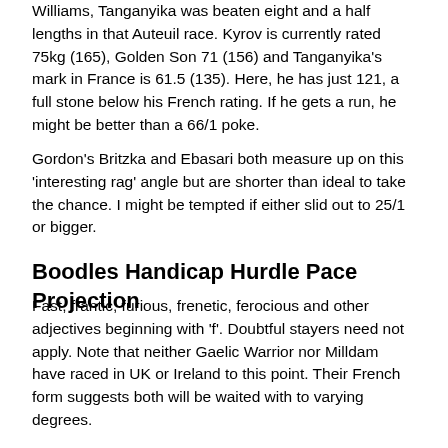Williams, Tanganyika was beaten eight and a half lengths in that Auteuil race. Kyrov is currently rated 75kg (165), Golden Son 71 (156) and Tanganyika's mark in France is 61.5 (135). Here, he has just 121, a full stone below his French rating. If he gets a run, he might be better than a 66/1 poke.
Gordon's Britzka and Ebasari both measure up on this 'interesting rag' angle but are shorter than ideal to take the chance. I might be tempted if either slid out to 25/1 or bigger.
Boodles Handicap Hurdle Pace Projection
Fast, frantic, furious, frenetic, ferocious and other adjectives beginning with 'f'. Doubtful stayers need not apply. Note that neither Gaelic Warrior nor Milldam have raced in UK or Ireland to this point. Their French form suggests both will be waited with to varying degrees.